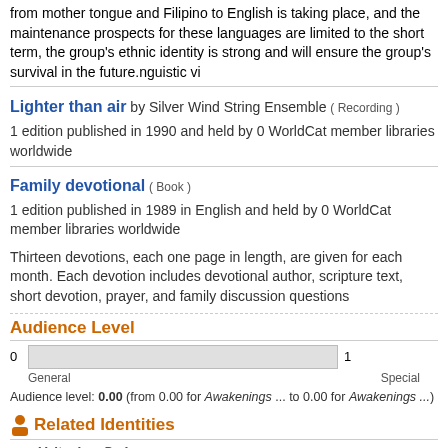from mother tongue and Filipino to English is taking place, and the maintenance prospects for these languages are limited to the short term, the group's ethnic identity is strong and will ensure the group's survival in the future.nguistic vi
Lighter than air by Silver Wind String Ensemble ( Recording )
1 edition published in 1990 and held by 0 WorldCat member libraries worldwide
Family devotional ( Book )
1 edition published in 1989 in English and held by 0 WorldCat member libraries worldwide
Thirteen devotions, each one page in length, are given for each month. Each devotion includes devotional author, scripture text, short devotion, prayer, and family discussion questions
Audience Level
[Figure (bar-chart): Audience Level]
Audience level: 0.00 (from 0.00 for Awakenings ... to 0.00 for Awakenings ...)
Related Identities
Velta, Lee Performer